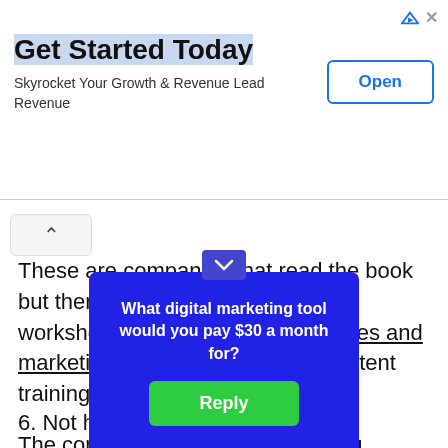[Figure (screenshot): Advertisement banner: 'Get Started Today' with subtitle 'Skyrocket Your Growth & Revenue Lead Revenue' and an 'Open' button on the right.]
These are companies that read the book but then had an inbound culture workshop, worked with a digital sales and marketing coach, and received content training.
6. Not having a teacher's mindset
The core principle of They Ask, You Answer is being the premier thought leader in your space.
And to do that, you have to have the mi...
[Figure (screenshot): Blue popup overlay asking 'What digital marketing tool would you pay $30 a month for?' with a green 'Reply' button.]